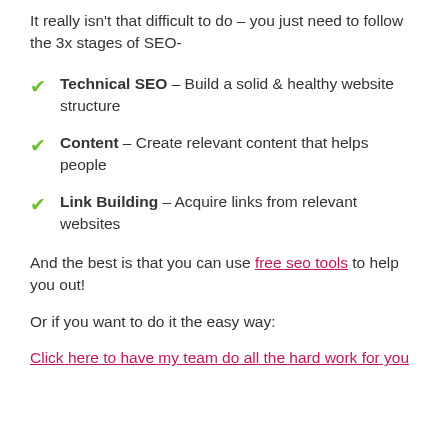It really isn't that difficult to do – you just need to follow the 3x stages of SEO-
Technical SEO – Build a solid & healthy website structure
Content – Create relevant content that helps people
Link Building – Acquire links from relevant websites
And the best is that you can use free seo tools to help you out!
Or if you want to do it the easy way:
Click here to have my team do all the hard work for you